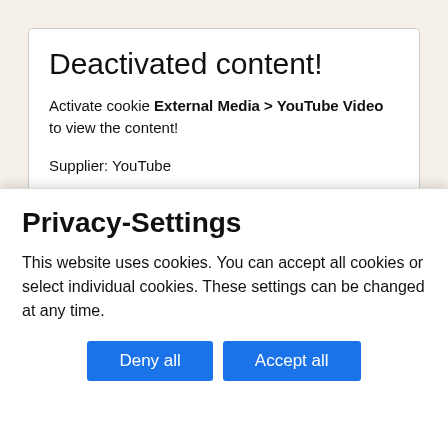Deactivated content!
Activate cookie External Media > YouTube Video to view the content!
Supplier: YouTube
Videos from YouTube.
Privacy-Terms
Activate cookie
Here you'll find a video from the television programme from the television channel WDR, (2001) (Only german)
Privacy-Settings
This website uses cookies. You can accept all cookies or select individual cookies. These settings can be changed at any time.
Deny all
Accept all